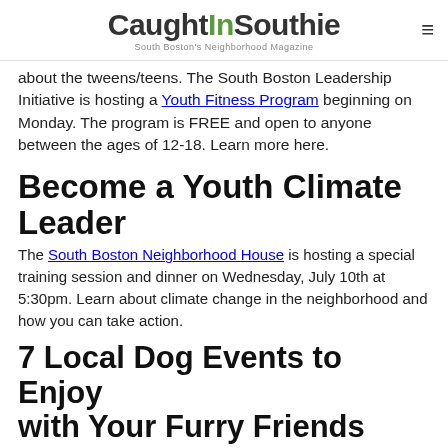CaughtInSouthie — South Boston's Neighborhood Magazine
about the tweens/teens. The South Boston Leadership Initiative is hosting a Youth Fitness Program beginning on Monday. The program is FREE and open to anyone between the ages of 12-18. Learn more here.
Become a Youth Climate Leader
The South Boston Neighborhood House is hosting a special training session and dinner on Wednesday, July 10th at 5:30pm. Learn about climate change in the neighborhood and how you can take action.
7 Local Dog Events to Enjoy with Your Furry Friends This